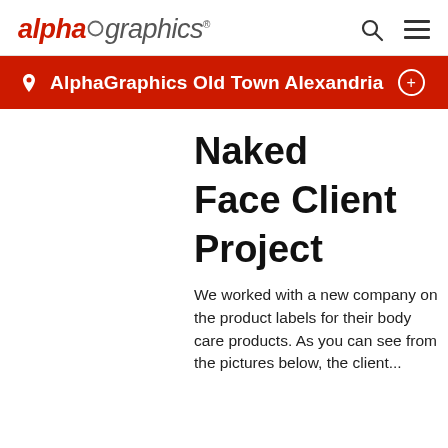alphagraphics
AlphaGraphics Old Town Alexandria
Naked Face Client Project
We worked with a new company on the product labels for their body care products. As you can see from the pictures below, the client...